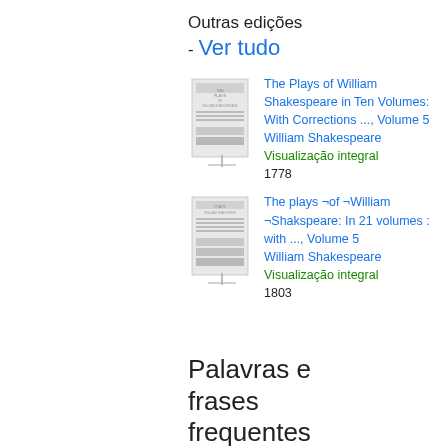Outras edições - Ver tudo
[Figure (illustration): Thumbnail of book cover for The Plays of William Shakespeare in Ten Volumes]
The Plays of William Shakespeare in Ten Volumes: With Corrections ..., Volume 5
William Shakespeare
Visualização integral
1778
[Figure (illustration): Thumbnail of book cover for The plays of William Shakspeare: In 21 volumes]
The plays ¬of ¬William ¬Shakspeare: In 21 volumes : with ..., Volume 5
William Shakespeare
Visualização integral
1803
Palavras e frases frequentes